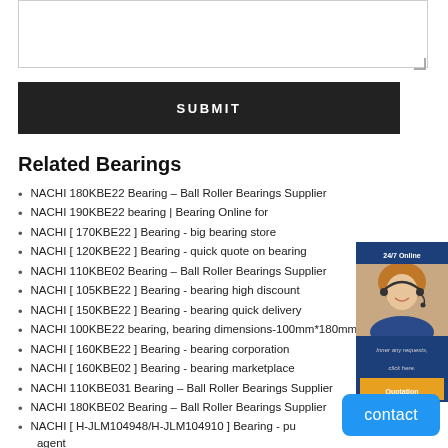[textarea input field]
SUBMIT
Related Bearings
NACHI 180KBE22 Bearing – Ball Roller Bearings Supplier
NACHI 190KBE22 bearing | Bearing Online for
NACHI [ 170KBE22 ] Bearing - big bearing store
NACHI [ 120KBE22 ] Bearing - quick quote on bearing
NACHI 110KBE02 Bearing – Ball Roller Bearings Supplier
NACHI [ 105KBE22 ] Bearing - bearing high discount
NACHI [ 150KBE22 ] Bearing - bearing quick delivery
NACHI 100KBE22 bearing, bearing dimensions-100mm*180mm
NACHI [ 160KBE22 ] Bearing - bearing corporation
NACHI [ 160KBE02 ] Bearing - bearing marketplace
NACHI 110KBE031 Bearing – Ball Roller Bearings Supplier
NACHI 180KBE02 Bearing – Ball Roller Bearings Supplier
NACHI [ H-JLM104948/H-JLM104910 ] Bearing - pu agent
NACHI [ 190KBE02 ] Bearing - bearing provider
[Figure (photo): Customer service representative with headset, 24/7 Online badge and Quotation button]
contact